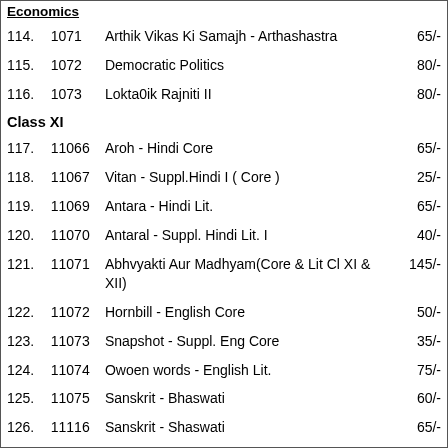| No. | Code | Title | Price |
| --- | --- | --- | --- |
| 114. | 1071 | Arthik Vikas Ki Samajh - Arthashastra | 65/- |
| 115. | 1072 | Democratic Politics | 80/- |
| 116. | 1073 | Lokta0ik Rajniti II | 80/- |
| Class XI |  |  |  |
| 117. | 11066 | Aroh - Hindi Core | 65/- |
| 118. | 11067 | Vitan - Suppl.Hindi I ( Core ) | 25/- |
| 119. | 11069 | Antara - Hindi Lit. | 65/- |
| 120. | 11070 | Antaral - Suppl. Hindi Lit. I | 40/- |
| 121. | 11071 | Abhvyakti Aur Madhyam(Core & Lit Cl XI & XII) | 145/- |
| 122. | 11072 | Hornbill - English Core | 50/- |
| 123. | 11073 | Snapshot - Suppl. Eng Core | 35/- |
| 124. | 11074 | Owoen words - English Lit. | 75/- |
| 125. | 11075 | Sanskrit - Bhaswati | 60/- |
| 126. | 11116 | Sanskrit - Shaswati | 65/- |
| 127. | 11070 | Mathematics | ... |